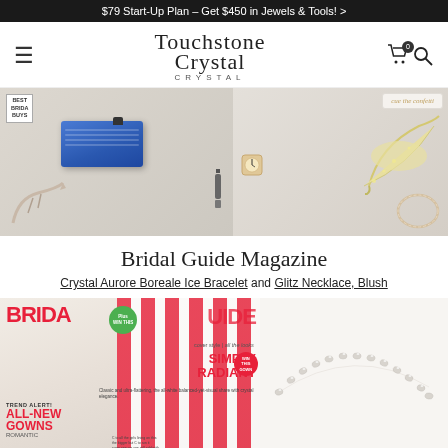$79 Start-Up Plan – Get $450 in Jewels & Tools! >
Touchstone Crystal
[Figure (photo): Magazine spread showing bridal accessories: blue clutch purse, silver strappy heels, crystal jewelry, glitter high heel shoe, and text 'cue the confetti'. Left side shows 'Best Bridal Buys' label.]
Bridal Guide Magazine
Crystal Aurore Boreale Ice Bracelet and Glitz Necklace, Blush
[Figure (photo): Bridal Guide Magazine cover showing bride with tiara, red and white striped design, text 'BRIDAL GUIDE', 'SIMPLY RADIANT', 'TREND ALERT! ALL-NEW GOWNS ROMANTIC...']
[Figure (photo): Crystal necklace/bracelet shown on white background - delicate line of clear crystals]